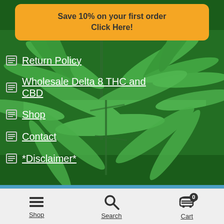[Figure (photo): Cannabis plant with green leaves as background]
Save 10% on your first order
Click Here!
Return Policy
Wholesale Delta 8 THC and CBD
Shop
Contact
*Disclaimer*
Thanks for choosing Smoky Mountain CBD! Free Shipping on all orders!
Dismiss
Shop  Search  Cart